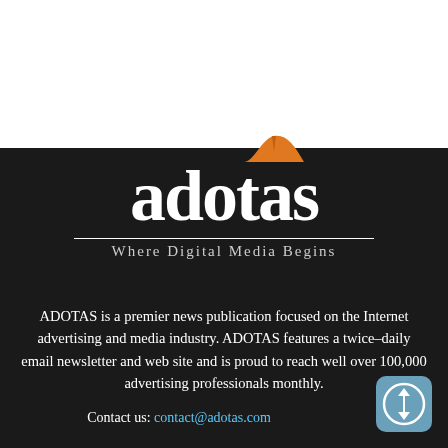[Figure (logo): ADOTAS logo with white bold text and orange shark fin above the letter 't', with tagline 'Where Digital Media Begins' below a horizontal rule]
ADOTAS is a premier news publication focused on the Internet advertising and media industry. ADOTAS features a twice-daily email newsletter and web site and is proud to reach well over 100,000 advertising professionals monthly.
Contact us: contact@adotas.com